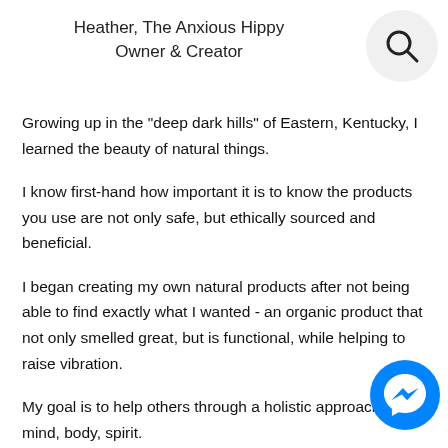Heather, The Anxious Hippy
Owner & Creator
Growing up in the "deep dark hills" of Eastern, Kentucky, I learned the beauty of natural things.
I know first-hand how important it is to know the products you use are not only safe, but ethically sourced and beneficial.
I began creating my own natural products after not being able to find exactly what I wanted - an organic product that not only smelled great, but is functional, while helping to raise vibration.
My goal is to help others through a holistic approach - mind, body, spirit.
Here you'll find a wide variety of herbs, organic CBD pr... incense, oils, crystals, tapestries, and much more to help y... step into a happier + heathier you.
[Figure (illustration): Search icon (magnifying glass) in a light gray circle, top right corner]
[Figure (illustration): Facebook Messenger icon (blue circle with white lightning bolt chat bubble), bottom right corner]